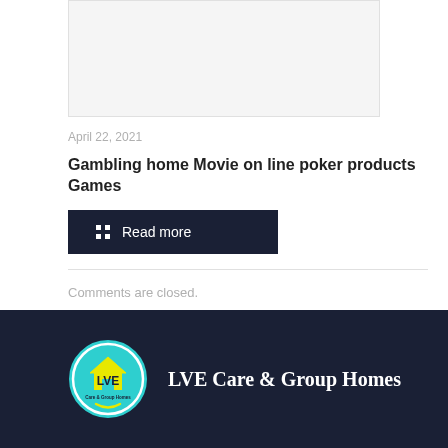[Figure (photo): Image placeholder at top of article]
April 22, 2021
Gambling home Movie on line poker products Games
Read more
Comments are closed.
[Figure (logo): LVE Care & Group Homes circular logo with teal background and yellow house icon]
LVE Care & Group Homes